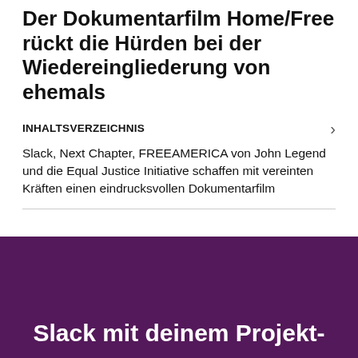Der Dokumentarfilm Home/Free rückt die Hürden bei der Wiedereingliederung von ehemals
INHALTSVERZEICHNIS
Slack, Next Chapter, FREEAMERICA von John Legend und die Equal Justice Initiative schaffen mit vereinten Kräften einen eindrucksvollen Dokumentarfilm
Slack mit deinem Projekt-